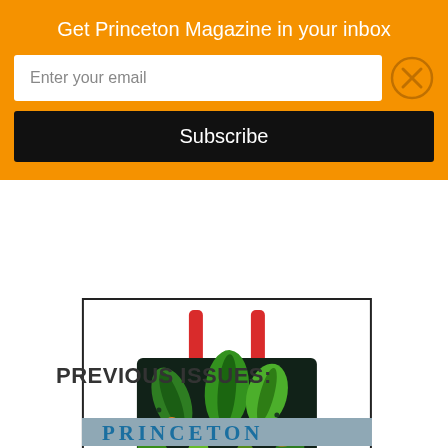Get Princeton Magazine in your inbox
Enter your email
Subscribe
[Figure (photo): A dark tote bag with jungle/tropical leaf and tiger print pattern, with red handles, shown against a white background inside a black-bordered advertisement box.]
www.princetonmagazinestore.com
PREVIOUS ISSUES:
[Figure (photo): Partial view of Princeton Magazine cover with large blue serif title text 'PRINCETON' visible at the bottom of the page.]